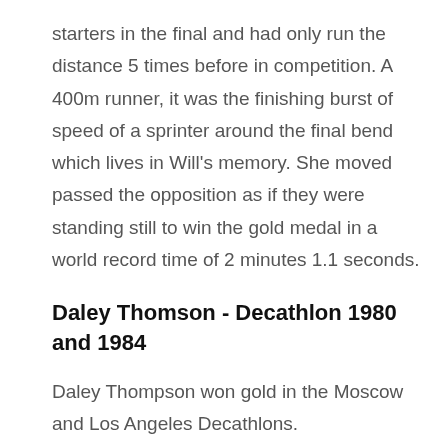starters in the final and had only run the distance 5 times before in competition. A 400m runner, it was the finishing burst of speed of a sprinter around the final bend which lives in Will's memory. She moved passed the opposition as if they were standing still to win the gold medal in a world record time of 2 minutes 1.1 seconds.
Daley Thomson - Decathlon 1980 and 1984
Daley Thompson won gold in the Moscow and Los Angeles Decathlons.